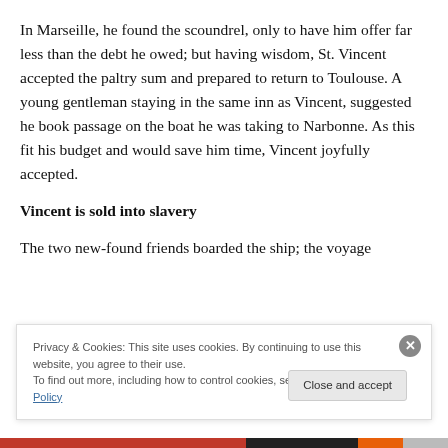In Marseille, he found the scoundrel, only to have him offer far less than the debt he owed; but having wisdom, St. Vincent accepted the paltry sum and prepared to return to Toulouse. A young gentleman staying in the same inn as Vincent, suggested he book passage on the boat he was taking to Narbonne. As this fit his budget and would save him time, Vincent joyfully accepted.
Vincent is sold into slavery
The two new-found friends boarded the ship; the voyage
Privacy & Cookies: This site uses cookies. By continuing to use this website, you agree to their use.
To find out more, including how to control cookies, see here: Cookie Policy